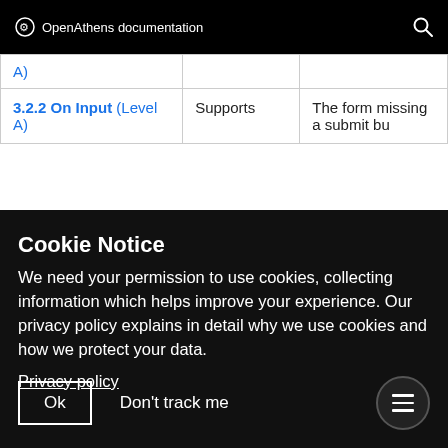OpenAthens documentation
| A) |  |  |
| 3.2.2 On Input (Level A) | Supports | The form missing a submit bu |
Cookie Notice
We need your permission to use cookies, collecting information which helps improve your experience. Our privacy policy explains in detail why we use cookies and how we protect your data.
Privacy policy
Ok
Don't track me